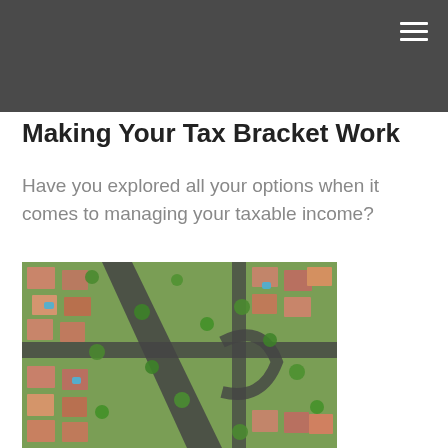Making Your Tax Bracket Work
Have you explored all your options when it comes to managing your taxable income?
[Figure (photo): Aerial view of a residential neighborhood with houses, streets, green trees, and cul-de-sacs]